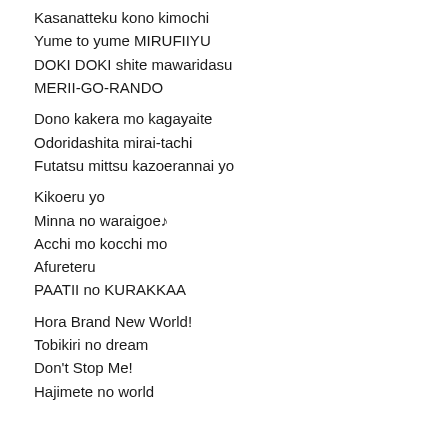Kasanatteku kono kimochi
Yume to yume MIRUFIIYU
DOKI DOKI shite mawaridasu
MERII-GO-RANDO
Dono kakera mo kagayaite
Odoridashita mirai-tachi
Futatsu mittsu kazoerannai yo
Kikoeru yo
Minna no waraigoe♪
Acchi mo kocchi mo
Afureteru
PAATII no KURAKKAA
Hora Brand New World!
Tobikiri no dream
Don't Stop Me!
Hajimete no world